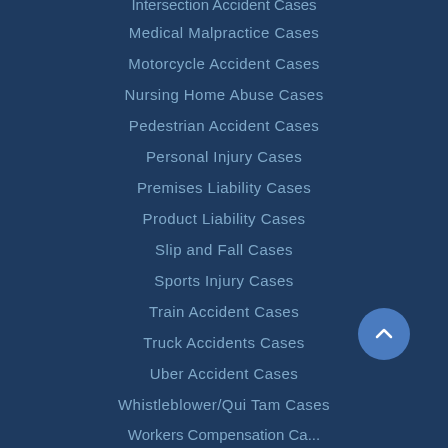Intersection Accident Cases
Medical Malpractice Cases
Motorcycle Accident Cases
Nursing Home Abuse Cases
Pedestrian Accident Cases
Personal Injury Cases
Premises Liability Cases
Product Liability Cases
Slip and Fall Cases
Sports Injury Cases
Train Accident Cases
Truck Accidents Cases
Uber Accident Cases
Whistleblower/Qui Tam Cases
Workers Compensation Cases